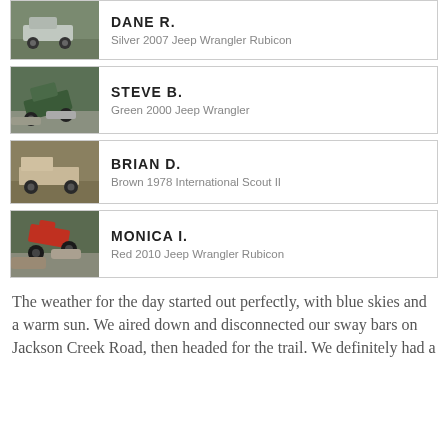[Figure (photo): Silver 2007 Jeep Wrangler Rubicon on trail]
DANE R.
Silver 2007 Jeep Wrangler Rubicon
[Figure (photo): Green 2000 Jeep Wrangler climbing rocks]
STEVE B.
Green 2000 Jeep Wrangler
[Figure (photo): Brown 1978 International Scout II on trail]
BRIAN D.
Brown 1978 International Scout II
[Figure (photo): Red 2010 Jeep Wrangler Rubicon on rocks]
MONICA I.
Red 2010 Jeep Wrangler Rubicon
The weather for the day started out perfectly, with blue skies and a warm sun. We aired down and disconnected our sway bars on Jackson Creek Road, then headed for the trail. We definitely had a